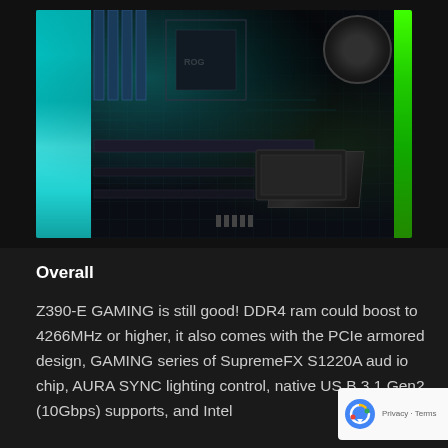[Figure (photo): Overhead photo of a computer motherboard (ASUS ROG Z390-E GAMING) installed in a PC case, with cyan/teal ambient lighting on the left side and green accents on the right. A CPU cooler with blue accent, RAM slots, and PCIe armor are visible. The board is dark colored with circuit traces visible.]
Overall
Z390-E GAMING is still good! DDR4 ram could boost to 4266MHz or higher, it also comes with the PCIe armored design, GAMING series of SupremeFX S1220A audio chip, AURA SYNC lighting control, native USB 3.1 Gen2 (10Gbps) supports, and Intel